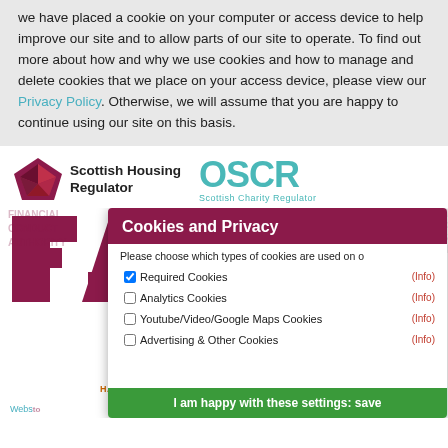we have placed a cookie on your computer or access device to help improve our site and to allow parts of our site to operate. To find out more about how and why we use cookies and how to manage and delete cookies that we place on your access device, please view our Privacy Policy.  Otherwise, we will assume that you are happy to continue using our site on this basis.
[Figure (logo): Scottish Housing Regulator logo with diamond/arrow shape in dark red and bold text]
[Figure (logo): OSCR Scottish Charity Regulator logo in teal]
[Figure (logo): FCA Financial Conduct Authority logo in dark magenta]
[Figure (logo): Happy to Translate orange logo with person icon]
Cookies and Privacy
Please choose which types of cookies are used on o
Required Cookies (Info)
Analytics Cookies (Info)
Youtube/Video/Google Maps Cookies (Info)
Advertising & Other Cookies (Info)
I am happy with these settings: save
Website by...